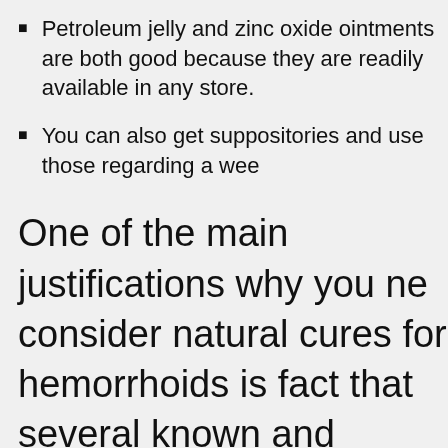Petroleum jelly and zinc oxide ointments are both good because they are readily available in any store.
You can also get suppositories and use those regarding a wee...
One of the main justifications why you need to consider natural cures for hemorrhoids is the fact that several known and popular treatments negatively impact on the blood sugar levels, making hemorrhoid treatment for diabetics a very serious concern.
Although People May Think Hemorrhoids are Embarrassing, Treat Them
Its common for pregnant women, for example, to suffer from these swollen veins. Picking up her...